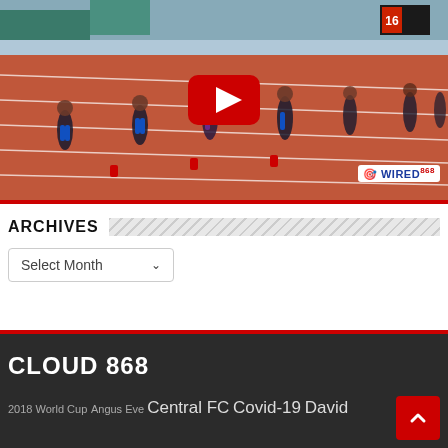[Figure (photo): Athletes running on a red athletics track at a sprint race. Several runners in blue/yellow uniforms. A YouTube play button overlay is visible in the center. Wired868 watermark in bottom right.]
ARCHIVES
Select Month (dropdown)
CLOUD 868
2018 World Cup Angus Eve Central FC Covid-19 David